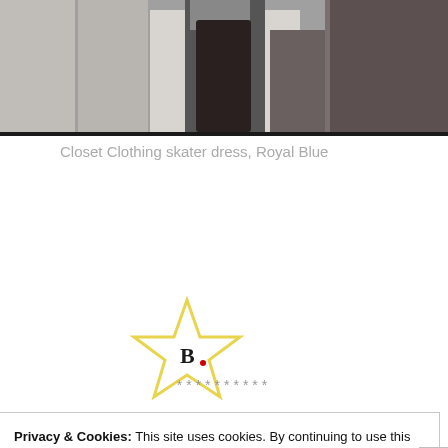[Figure (photo): Partial view of a person in a dark outfit standing, cropped at the body, dark background, appears to be a fitting room or closet setting]
Closet Clothing skater dress, Royal Blue
[Figure (logo): Bloglovin star-shaped logo outline in yellow/gold with 'B.' text in the center]
**********
Privacy & Cookies: This site uses cookies. By continuing to use this website, you agree to their use.
To find out more, including how to control cookies, see here: Cookie Policy
Close and accept